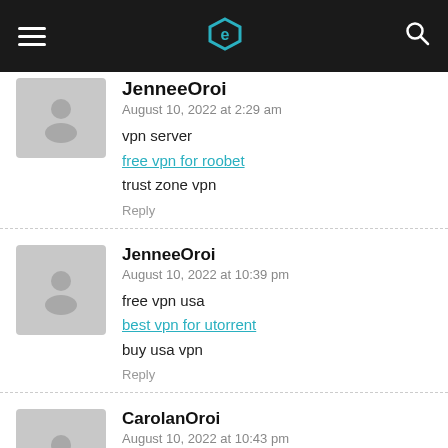Navigation bar with hamburger menu, logo, and search icon
JenneeOroi
August 10, 2022 at 2:29 am
vpn server
free vpn for roobet
trust zone vpn
Reply
JenneeOroi
August 10, 2022 at 10:39 pm
free vpn usa
best vpn for utorrent
buy usa vpn
Reply
CarolanOroi
August 10, 2022 at 10:43 pm
best casino reviews
no deposit online casino real money